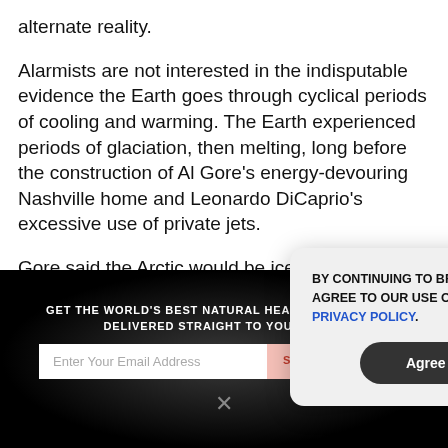alternate reality.
Alarmists are not interested in the indisputable evidence the Earth goes through cyclical periods of cooling and warming. The Earth experienced periods of glaciation, then melting, long before the construction of Al Gore’s energy-devouring Nashville home and Leonardo DiCaprio’s excessive use of private jets.
Gore said the Arctic would be ice free by 2014 and the guy
GET THE WORLD'S BEST NATURAL HEALTH NEWSLETTER DELIVERED STRAIGHT TO YOUR INBOX
Enter Your Email Address
SUBSCRIBE
BY CONTINUING TO BROWSE OUR SITE YOU AGREE TO OUR USE OF COOKIES AND OUR PRIVACY POLICY.
Agree and close